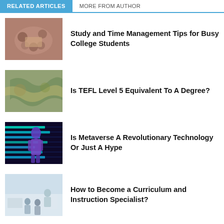RELATED ARTICLES | MORE FROM AUTHOR
[Figure (photo): Students studying together around a table, viewed from above]
Study and Time Management Tips for Busy College Students
[Figure (photo): Vintage world map illustration]
Is TEFL Level 5 Equivalent To A Degree?
[Figure (photo): Person in purple shirt standing in front of a neon-lit digital display, metaverse concept]
Is Metaverse A Revolutionary Technology Or Just A Hype
[Figure (photo): Classroom with instructor and students, curriculum setting]
How to Become a Curriculum and Instruction Specialist?
[Figure (photo): Outdoor scene, partial view]
5 Quick Tips on How to Prepare and